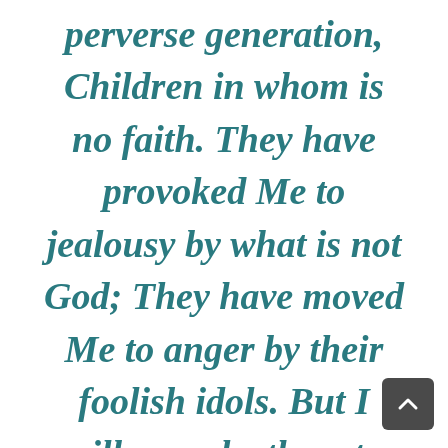perverse generation, Children in whom is no faith. They have provoked Me to jealousy by what is not God; They have moved Me to anger by their foolish idols. But I will provoke them to